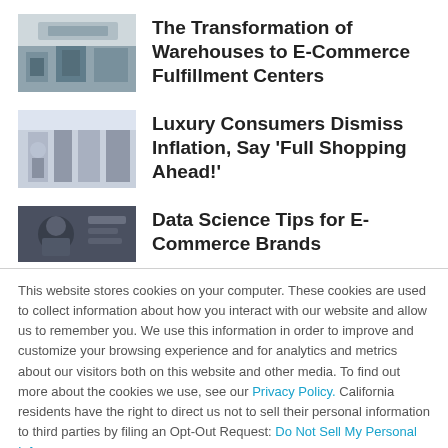[Figure (photo): Thumbnail image of a warehouse/fulfillment center interior]
The Transformation of Warehouses to E-Commerce Fulfillment Centers
[Figure (photo): Thumbnail image of a luxury retail store interior]
Luxury Consumers Dismiss Inflation, Say 'Full Shopping Ahead!'
[Figure (photo): Thumbnail image related to data science / e-commerce]
Data Science Tips for E-Commerce Brands
This website stores cookies on your computer. These cookies are used to collect information about how you interact with our website and allow us to remember you. We use this information in order to improve and customize your browsing experience and for analytics and metrics about our visitors both on this website and other media. To find out more about the cookies we use, see our Privacy Policy. California residents have the right to direct us not to sell their personal information to third parties by filing an Opt-Out Request: Do Not Sell My Personal Info.
Accept